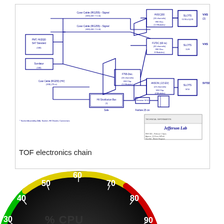[Figure (schematic): TOF electronics chain schematic diagram showing coax cables (RG255) Signal connections, PMT, HV2020, SA7 Standard, Sumilator, HV Distribution Box, F795-Disc (16 channels), HVDC200 (16 channels), F17DC (32 channels), ANSON (2-3 EV), and SLOTS modules in a Jefferson Lab engineering diagram]
TOF electronics chain
[Figure (other): Speedometer/gauge dial showing scale from 20 to 100, with green arc from 20-50, yellow arc from 50-70, red arc from 70-100, and needle pointing near 100. Label reads % CPU with a warning symbol.]